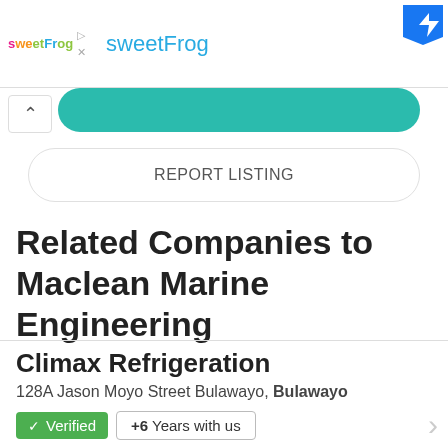[Figure (screenshot): sweetFrog advertisement banner with logo and Facebook icon]
REPORT LISTING
Related Companies to Maclean Marine Engineering
Climax Refrigeration
128A Jason Moyo Street Bulawayo, Bulawayo
✓ Verified  +6  Years with us